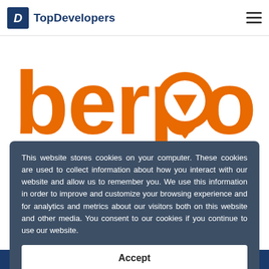TopDevelopers
[Figure (logo): Berpong logo in orange text on white background, showing the word 'berpong' with stylized letter characters including a ping-pong ball and paddle replacing letters]
This website stores cookies on your computer. These cookies are used to collect information about how you interact with our website and allow us to remember you. We use this information in order to improve and customize your browsing experience and for analytics and metrics about our visitors both on this website and other media. You consent to our cookies if you continue to use our website.
Accept